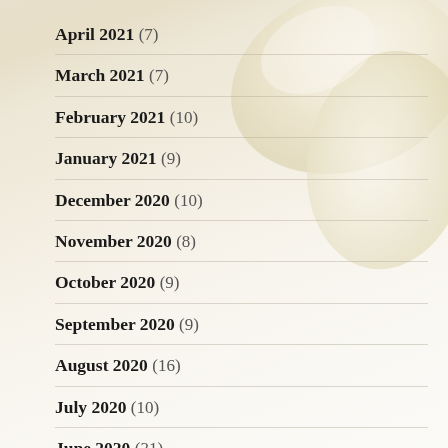April 2021 (7)
March 2021 (7)
February 2021 (10)
January 2021 (9)
December 2020 (10)
November 2020 (8)
October 2020 (9)
September 2020 (9)
August 2020 (16)
July 2020 (10)
June 2020 (31)